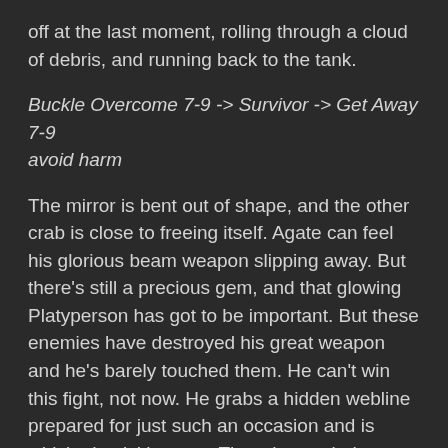off at the last moment, rolling through a cloud of debris, and running back to the tank.
Buckle Overcome 7-9 -> Survivor -> Get Away 7-9 avoid harm
The mirror is bent out of shape, and the other crab is close to freeing itself. Agate can feel his glorious beam weapon slipping away. But there’s still a precious gem, and that glowing Platyperson has got to be important. But these enemies have destroyed his great weapon and he’s barely touched them. He can’t win this fight, not now. He grabs a hidden webline prepared for just such an occasion and is whisked quickly away. The other crab throws its side of the mirro down, completing its destruction!
The Siege Tank leads the two giant crabs back to Bertha